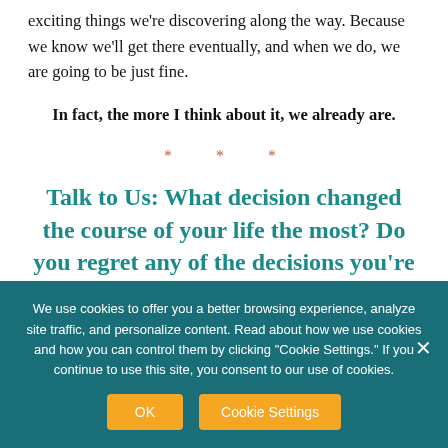exciting things we're discovering along the way. Because we know we'll get there eventually, and when we do, we are going to be just fine.
In fact, the more I think about it, we already are.
* * *
Talk to Us: What decision changed the course of your life the most? Do you regret any of the decisions you're made? How can you change your
We use cookies to offer you a better browsing experience, analyze site traffic, and personalize content. Read about how we use cookies and how you can control them by clicking "Cookie Settings." If you continue to use this site, you consent to our use of cookies.
OK   Cookie Settings